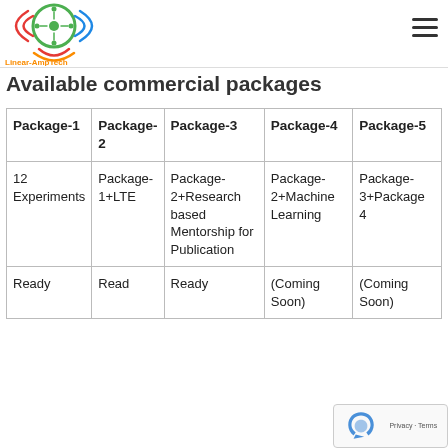Linear-AmpTech
Available commercial packages
| Package-1 | Package-2 | Package-3 | Package-4 | Package-5 |
| --- | --- | --- | --- | --- |
| 12 Experiments | Package-1+LTE | Package-2+Research based Mentorship for Publication | Package-2+Machine Learning | Package-3+Package 4 |
| Ready | Read | Ready | (Coming Soon) | (Coming Soon) |